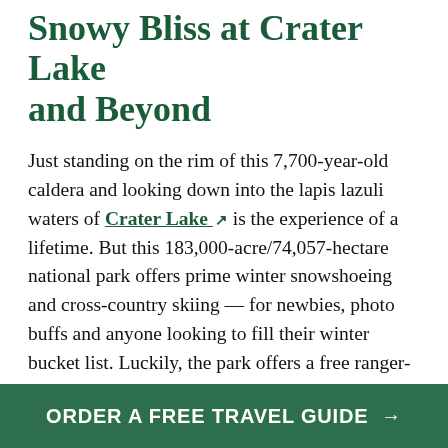Snowy Bliss at Crater Lake and Beyond
Just standing on the rim of this 7,700-year-old caldera and looking down into the lapis lazuli waters of Crater Lake is the experience of a lifetime. But this 183,000-acre/74,057-hectare national park offers prime winter snowshoeing and cross-country skiing — for newbies, photo buffs and anyone looking to fill their winter bucket list. Luckily, the park offers a free ranger-led snowshoe tour through the magical landscape, so you can head out without worry while you look for the footprints of fleet-footed wild creatures. Trade picture-perfect lake views (which may be obscured
ORDER A FREE TRAVEL GUIDE →